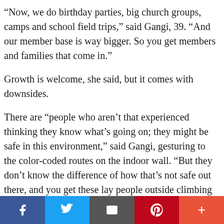“Now, we do birthday parties, big church groups, camps and school field trips,” said Gangi, 39. “And our member base is way bigger. So you get members and families that come in.”
Growth is welcome, she said, but it comes with downsides.
There are “people who aren’t that experienced thinking they know what’s going on; they might be safe in this environment,” said Gangi, gesturing to the color-coded routes on the indoor wall. “But they don’t know the difference of how that’s not safe out there, and you get these lay people outside climbing who pretty much
[Figure (infographic): Social sharing bar with Facebook, Twitter, email/share, Pinterest, and more (+) buttons]